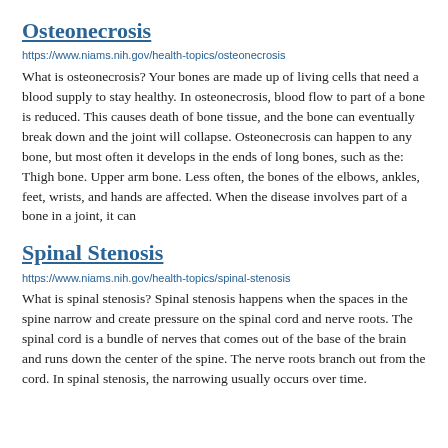Osteonecrosis
https://www.niams.nih.gov/health-topics/osteonecrosis
What is osteonecrosis? Your bones are made up of living cells that need a blood supply to stay healthy. In osteonecrosis, blood flow to part of a bone is reduced. This causes death of bone tissue, and the bone can eventually break down and the joint will collapse. Osteonecrosis can happen to any bone, but most often it develops in the ends of long bones, such as the: Thigh bone. Upper arm bone. Less often, the bones of the elbows, ankles, feet, wrists, and hands are affected. When the disease involves part of a bone in a joint, it can
Spinal Stenosis
https://www.niams.nih.gov/health-topics/spinal-stenosis
What is spinal stenosis? Spinal stenosis happens when the spaces in the spine narrow and create pressure on the spinal cord and nerve roots. The spinal cord is a bundle of nerves that comes out of the base of the brain and runs down the center of the spine. The nerve roots branch out from the cord. In spinal stenosis, the narrowing usually occurs over time.